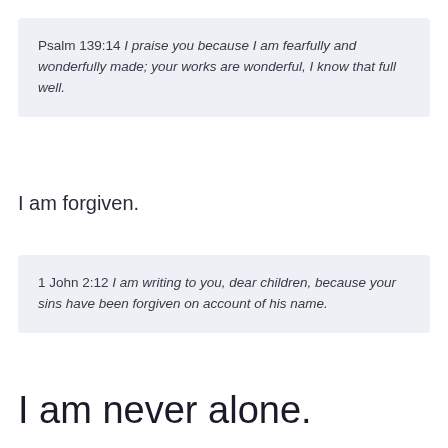Psalm 139:14 I praise you because I am fearfully and wonderfully made; your works are wonderful, I know that full well.
I am forgiven.
1 John 2:12 I am writing to you, dear children, because your sins have been forgiven on account of his name.
I am never alone.